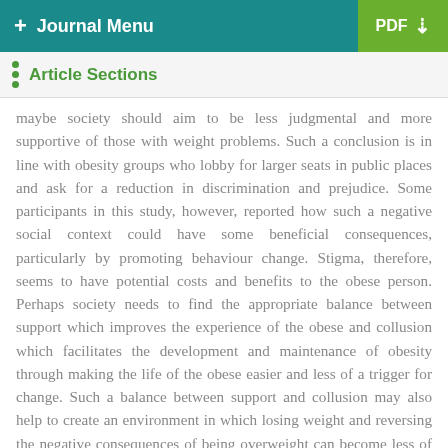+ Journal Menu   PDF ↓
Article Sections
maybe society should aim to be less judgmental and more supportive of those with weight problems. Such a conclusion is in line with obesity groups who lobby for larger seats in public places and ask for a reduction in discrimination and prejudice. Some participants in this study, however, reported how such a negative social context could have some beneficial consequences, particularly by promoting behaviour change. Stigma, therefore, seems to have potential costs and benefits to the obese person. Perhaps society needs to find the appropriate balance between support which improves the experience of the obese and collusion which facilitates the development and maintenance of obesity through making the life of the obese easier and less of a trigger for change. Such a balance between support and collusion may also help to create an environment in which losing weight and reversing the negative consequences of being overweight can become less of a minority behaviour.
To conclude, being obese is a predominantly negative